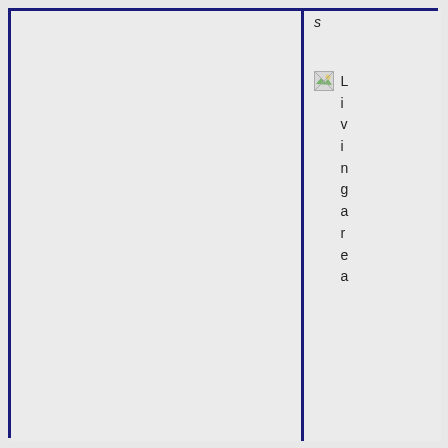s
[Figure (illustration): Small broken image icon followed by vertically stacked letters spelling 'Living area']
Living area
[Figure (illustration): Small broken image icon followed by vertically stacked text '11-1']
11-1
Construction